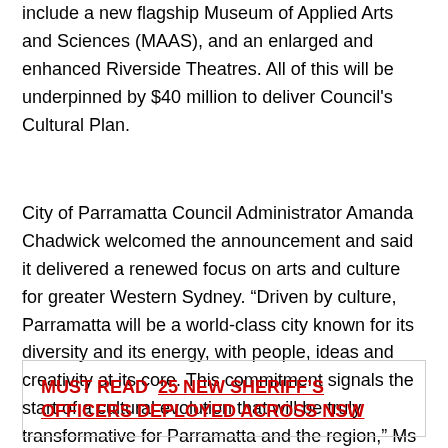include a new flagship Museum of Applied Arts and Sciences (MAAS), and an enlarged and enhanced Riverside Theatres. All of this will be underpinned by $40 million to deliver Council's Cultural Plan.
City of Parramatta Council Administrator Amanda Chadwick welcomed the announcement and said it delivered a renewed focus on arts and culture for greater Western Sydney. “Driven by culture, Parramatta will be a world-class city known for its diversity and its energy, with people, ideas and creativity at its core. This commitment signals the start of a cultural evolution that will be truly transformative for Parramatta and the region,” Ms Chadwick said.
MUST READ  25 NEW SHERIFF’S OFFICERS DEPLOYED ACROSS NSW